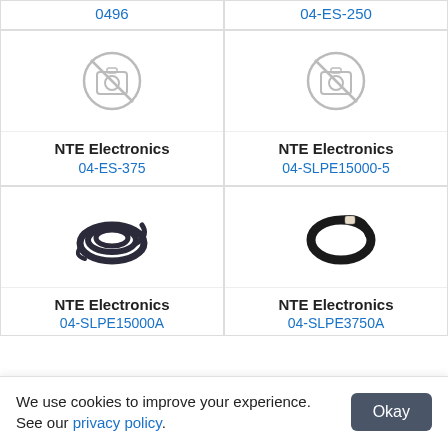0496
04-ES-250
[Figure (photo): No image available placeholder icon - camera with slash]
[Figure (photo): No image available placeholder icon - camera with slash]
NTE Electronics
04-ES-375
NTE Electronics
04-SLPE15000-5
[Figure (photo): Coiled dark blue/black cable or hose product photo]
[Figure (photo): Coiled black rubber ring/gasket product photo]
NTE Electronics
04-SLPE15000A
NTE Electronics
04-SLPE3750A
We use cookies to improve your experience. See our privacy policy.
Okay